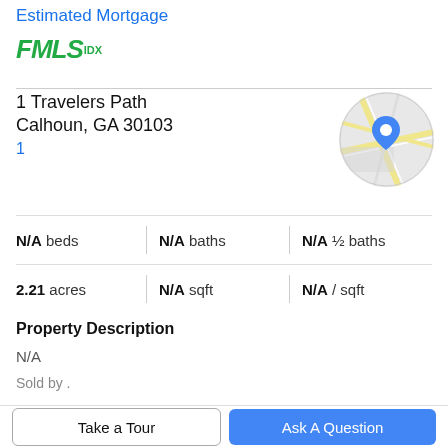Estimated Mortgage
[Figure (logo): FMLS IDX logo in green italic bold font]
1 Travelers Path
Calhoun, GA 30103
1
[Figure (map): Circular map thumbnail showing street map with blue location pin marker]
N/A beds | N/A baths | N/A ½ baths
2.21 acres | N/A sqft | N/A / sqft
Property Description
N/A
Sold by .
Take a Tour
Ask A Question